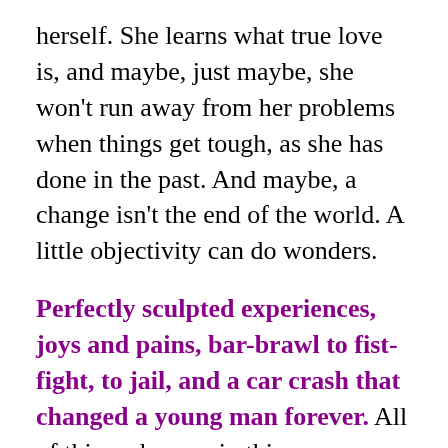herself. She learns what true love is, and maybe, just maybe, she won't run away from her problems when things get tough, as she has done in the past. And maybe, a change isn't the end of the world. A little objectivity can do wonders.
Perfectly sculpted experiences, joys and pains, bar-brawl to fist-fight, to jail, and a car crash that changed a young man forever. All of this and more, in this heartwarming, real-world experience. And then finally